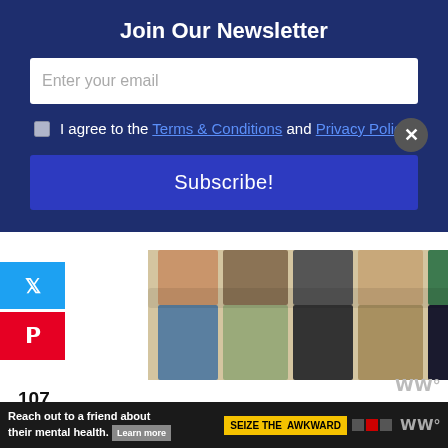Join Our Newsletter
Enter your email
I agree to the Terms & Conditions and Privacy Policy.
Subscribe!
[Figure (photo): Group of people standing in a row from behind, showing various outfits]
107
SHARES
It was also great to see spectators along the road. They may have been there to cheer on a specific person, but it felt like they were there for ev...as
[Figure (infographic): Ad banner: Reach out to a friend about their mental health. Learn more. SEIZE THE AWKWARD.]